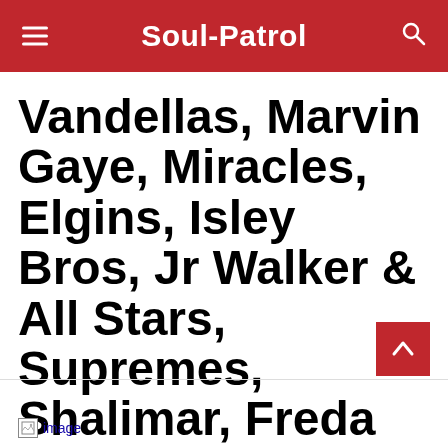Soul-Patrol
Vandellas, Marvin Gaye, Miracles, Elgins, Isley Bros, Jr Walker & All Stars, Supremes, Shalimar, Freda Payne, Flaming Ember, Politicians, Brian Holland, Four Tops
Robert Davis
[Figure (other): image placeholder (broken image icon with blue 'image' link text)]